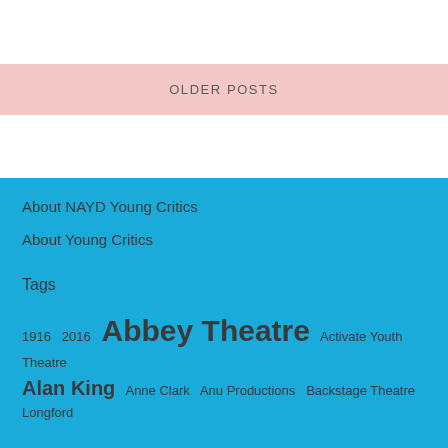OLDER POSTS
About NAYD Young Critics
About Young Critics
Tags
1916  2016  Abbey Theatre  Activate Youth Theatre  Alan King  Anne Clark  Anu Productions  Backstage Theatre Longford